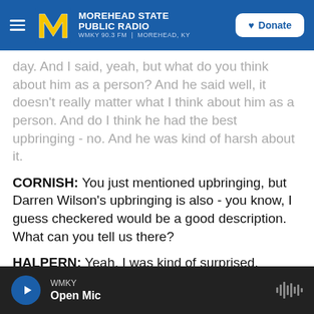MOREHEAD STATE PUBLIC RADIO | WMKY 90.3 FM | MOREHEAD, KY | Donate
day. And I said, yeah, but what do you think about him as a person? And he said well, it doesn't really matter what I think about him as a person. And do I think he had the best upbringing - no. And he was kind of harsh about it.
CORNISH: You just mentioned upbringing, but Darren Wilson's upbringing is also - you know, I guess checkered would be a good description. What can you tell us there?
HALPERN: Yeah, I was kind of surprised, actually, that Wilson didn't have more empathy towards the challenges that Mike Brown might have had in his
WMKY | Open Mic